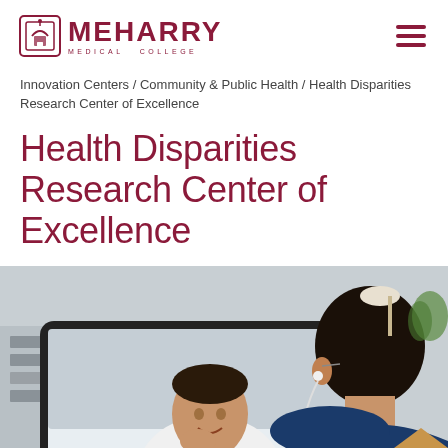Meharry Medical College
Innovation Centers / Community & Public Health / Health Disparities Research Center of Excellence
Health Disparities Research Center of Excellence
[Figure (photo): A person seen from behind wearing earbuds, looking at a computer monitor showing a video call with a smiling man in a white shirt. Office environment with bookshelves in background. A 'TOP' navigation button is visible in the lower right corner.]